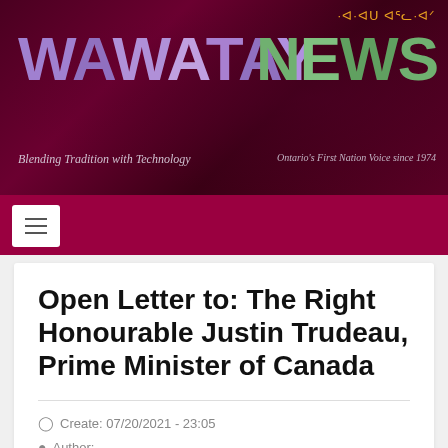[Figure (logo): Wawatay News banner header with purple 'WAWATAY' and green 'NEWS' text on dark maroon background, syllabics text top right in orange, taglines in italic below]
Open Letter to: The Right Honourable Justin Trudeau, Prime Minister of Canada
Create: 07/20/2021 - 23:05
Author: Garnet Angeconeb C.M.